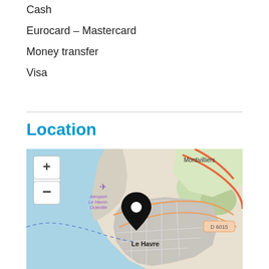Cash
Eurocard – Mastercard
Money transfer
Visa
Location
[Figure (map): Map of Le Havre area showing location pin over Le Havre city, with Montivilliers to the north-east, Aéroport Le Havre-Octeville labeled with airplane icon, road D 6015 visible, and zoom +/- controls in top-left corner.]